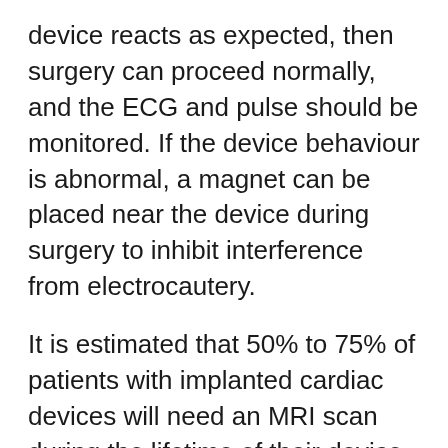device reacts as expected, then surgery can proceed normally, and the ECG and pulse should be monitored. If the device behaviour is abnormal, a magnet can be placed near the device during surgery to inhibit interference from electrocautery.
It is estimated that 50% to 75% of patients with implanted cardiac devices will need an MRI scan during the lifetime of their device. The document states that MRI should only be performed in patients with these devices in centres with appropriate teams, protocols, and equipment. “Collaborative relationships between radiologists, physicists, cardiologists, and allied health staff members are essential for safe outcomes,”